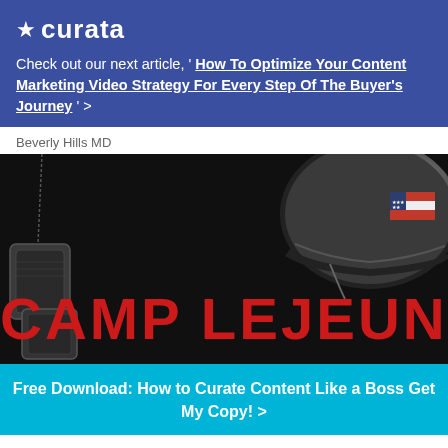curata
Check out our next article, ' How To Optimize Your Content Marketing Video Strategy For Every Step Of The Buyer's Journey ' >
Beverly Hills MD
[Figure (photo): Dark dramatic photo with military dog tags, soldier helmet with American flag patch, and large red distressed text reading CAMP LEJEUNE]
Free Download: How to Curate Content Like a Boss Get My Copy! >